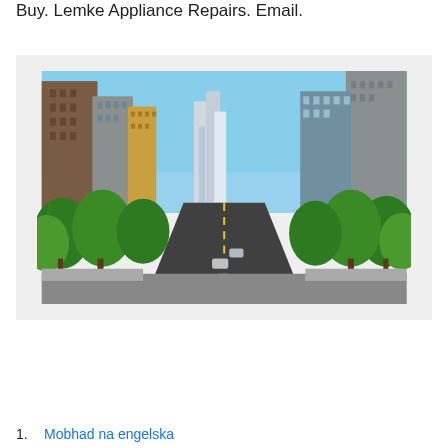Buy. Lemke Appliance Repairs. Email.
[Figure (photo): City street view with tall buildings/skyscrapers on both sides, green trees lining the road, cars on the street, blue sky in the background — appears to be a busy urban avenue.]
1. Mobhad na engelska